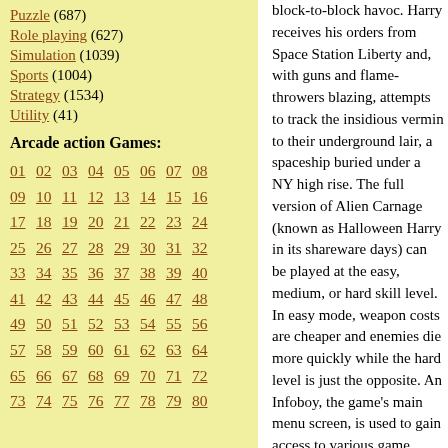Puzzle (687)
Role playing (627)
Simulation (1039)
Sports (1004)
Strategy (1534)
Utility (41)
Arcade action Games:
01 02 03 04 05 06 07 08 09 10 11 12 13 14 15 16 17 18 19 20 21 22 23 24 25 26 27 28 29 30 31 32 33 34 35 36 37 38 39 40 41 42 43 44 45 46 47 48 49 50 51 52 53 54 55 56 57 58 59 60 61 62 63 64 65 66 67 68 69 70 71 72 73 74 75 76 77 78 79 80
block-to-block havoc. Harry receives his orders from Space Station Liberty and, with guns and flame-throwers blazing, attempts to track the insidious vermin to their underground lair, a spaceship buried under a NY high rise. The full version of Alien Carnage (known as Halloween Harry in its shareware days) can be played at the easy, medium, or hard skill level. In easy mode, weapon costs are cheaper and enemies die more quickly while the hard level is just the opposite. An Infoboy, the game's main menu screen, is used to gain access to various game options and select missions.
The game keeps track of high scores as well as other in-